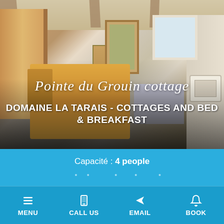[Figure (photo): Interior of a French cottage with wooden dining table, staircase on left, wooden dresser in background, door/window, armchair, kitchen counter with sink on far right, and beamed ceiling]
Pointe du Grouin cottage
DOMAINE LA TARAIS - COTTAGES AND BED & BREAKFAST
Capacité : 4 people
MENU | CALL US | EMAIL | BOOK